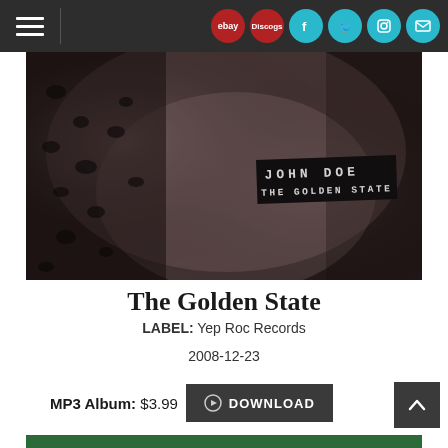Navigation bar with hamburger menu, ebay, Discogs, Facebook, Twitter, Instagram, and mail icons
[Figure (photo): Black and white album cover photo for John Doe - The Golden State, showing a dark atmospheric image with a hand-written label sticker reading JOHN DOE / THE GOLDEN STATE]
The Golden State
LABEL: Yep Roc Records
2008-12-23
MP3 Album: $3.99  DOWNLOAD